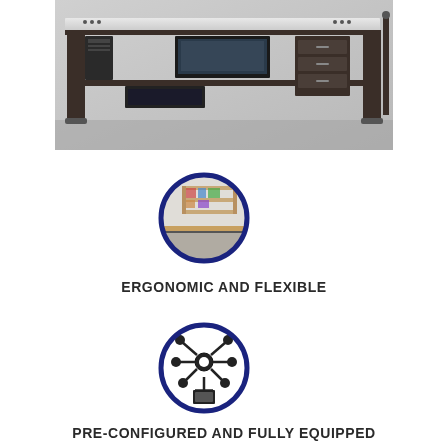[Figure (photo): Product photo of an industrial/laboratory workbench with dark metal frame, light-colored work surface, storage drawers on the right side, and equipment mounted underneath]
[Figure (illustration): Circular icon with dark blue border showing a cropped photo of a workbench corner with shelving]
ERGONOMIC AND FLEXIBLE
[Figure (illustration): Circular icon with dark blue border containing a black illustration of a hub/node symbol with a box/package below it]
PRE-CONFIGURED AND FULLY EQUIPPED